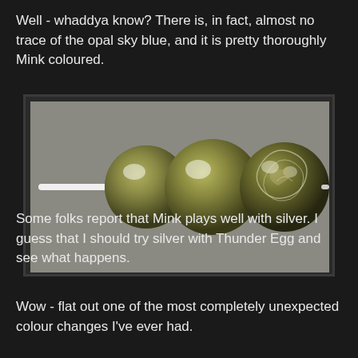Well - whaddya know? There is, in fact, almost no trace of the opal sky blue, and it is pretty thoroughly Mink coloured.
[Figure (photo): Three round glass beads on a mandrel/rod. Two plain olive-green/mink coloured spherical beads on the left and center, and one larger decorated bead with silver/floral design on the right. Background is grey.]
Some folks report that Mink plays well with silver. I guess that I should try silver with Thunder Egg and see what happens.
Wow - flat out one of the most completely unexpected colour changes I've ever had.